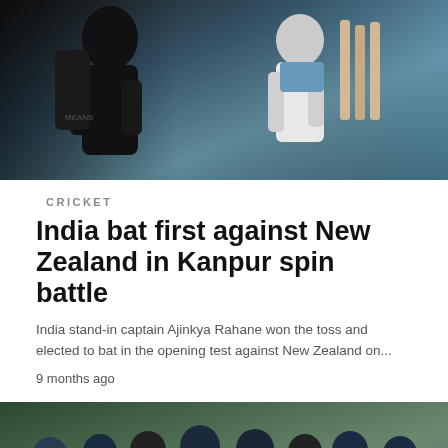[Figure (photo): Cricket player in dark gear carrying equipment, another player in white uniform with bats visible in background]
CRICKET
India bat first against New Zealand in Kanpur spin battle
India stand-in captain Ajinkya Rahane won the toss and elected to bat in the opening test against New Zealand on...
9 months ago
[Figure (photo): Indian cricket team players gathered in a huddle during practice/team meeting, wearing blue jerseys with Byju's sponsorship]